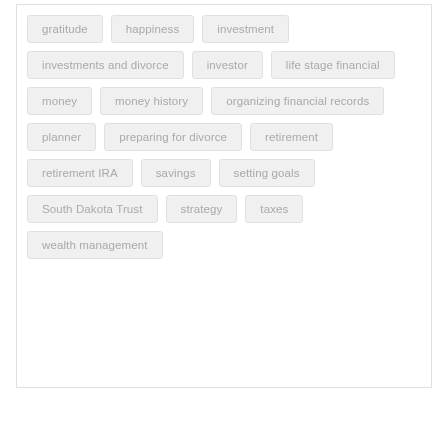gratitude
happiness
investment
investments and divorce
investor
life stage financial
money
money history
organizing financial records
planner
preparing for divorce
retirement
retirement IRA
savings
setting goals
South Dakota Trust
strategy
taxes
wealth management